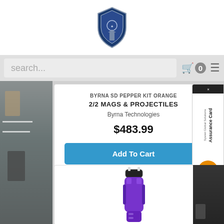[Figure (logo): Police supply store shield/badge logo in blue and silver]
search...  🛒 0  ☰
BYRNA SD PEPPER KIT ORANGE 2/2 MAGS & PROJECTILES
Byrna Technologies
$483.99
Add To Cart
Financing Available
[Figure (photo): Purple stun gun / taser device product photo]